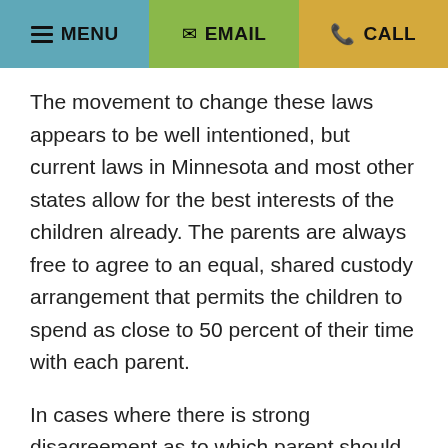MENU | EMAIL | CALL
The movement to change these laws appears to be well intentioned, but current laws in Minnesota and most other states allow for the best interests of the children already. The parents are always free to agree to an equal, shared custody arrangement that permits the children to spend as close to 50 percent of their time with each parent.
In cases where there is strong disagreement as to which parent should receive primary physical custody, it seems like focusing on the well-being of the children is generally a better perspective. The children did not bring about the divorce, and if